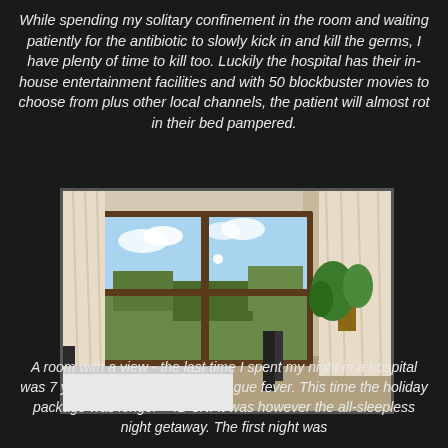While spending my solitary confinement in the room and waiting patiently for the antibiotic to slowly kick in and kill the germs, I have plenty of time to kill too. Luckily the hospital has their in-house entertainment facilities and with 50 blockbuster movies to choose from plus other local channels, the patient will almost rot in their bed pampered.
[Figure (photo): A hospital room with a large window looking out onto a scenic view with trees and sky. There are white curtains on either side, a hospital bed in the foreground, and a plant visible on the right side.]
A room with a view - the last time I spent my night in a hospital was 7 years ago when I had a dengue fever. This time the holiday package was longer - 4D 3N. It was however the all-sleepless night getaway. The first night was